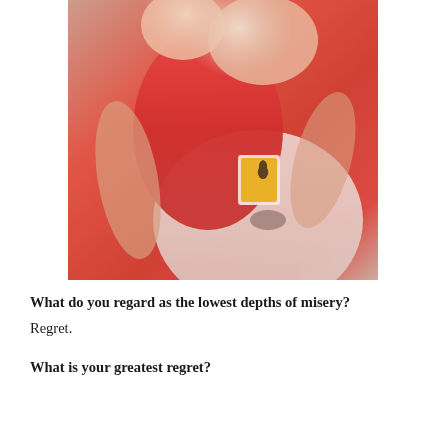[Figure (photo): A person in a white shirt holding a child wearing a red Ferrari/Puma racing shirt. The adult's arms embrace the child who is wearing a red Ferrari team shirt with the prancing horse logo and Puma branding visible. The image is warmly lit with soft focus background.]
What do you regard as the lowest depths of misery?
Regret.
What is your greatest regret?